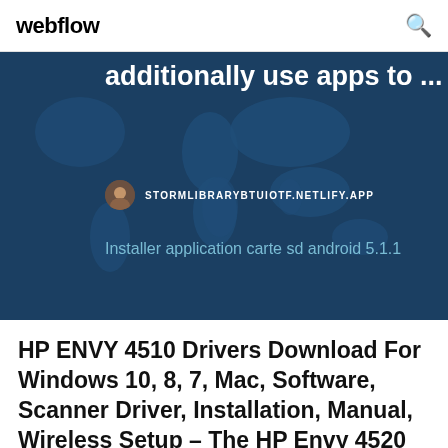webflow
[Figure (screenshot): Blue card with world map background showing partial text 'additionally use apps to ...' and website URL STORMLIBRARYBTUIOTF.NETLIFY.APP with an avatar icon, and link text 'Installer application carte sd android 5.1.1']
HP ENVY 4510 Drivers Download For Windows 10, 8, 7, Mac, Software, Scanner Driver, Installation, Manual, Wireless Setup – The HP Envy 4520 All-in-One Printer is developed for house